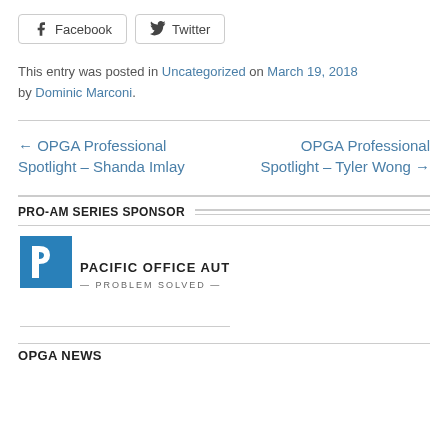Facebook  Twitter (social share buttons)
This entry was posted in Uncategorized on March 19, 2018 by Dominic Marconi.
← OPGA Professional Spotlight – Shanda Imlay
OPGA Professional Spotlight – Tyler Wong →
PRO-AM SERIES SPONSOR
[Figure (logo): Pacific Office Automation logo — blue stylized P letter mark above text PACIFIC OFFICE AUTOMATION — PROBLEM SOLVED —]
OPGA NEWS